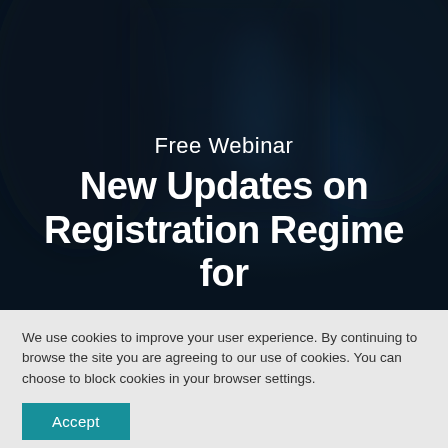[Figure (photo): Dark blurred background photo showing a person or figure in a dark setting, used as hero image backdrop]
Free Webinar
New Updates on Registration Regime for
We use cookies to improve your user experience. By continuing to browse the site you are agreeing to our use of cookies. You can choose to block cookies in your browser settings.
Accept